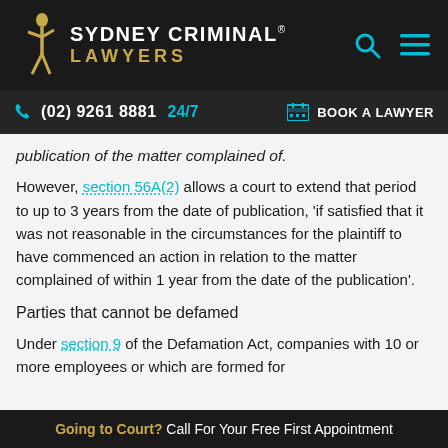SYDNEY CRIMINAL® LAWYERS
(02) 9261 8881  24/7   BOOK A LAWYER
publication of the matter complained of.
However, section 56A(2) allows a court to extend that period to up to 3 years from the date of publication, 'if satisfied that it was not reasonable in the circumstances for the plaintiff to have commenced an action in relation to the matter complained of within 1 year from the date of the publication'.
Parties that cannot be defamed
Under section 9 of the Defamation Act, companies with 10 or more employees or which are formed for
Going to Court? Call For Your Free First Appointment